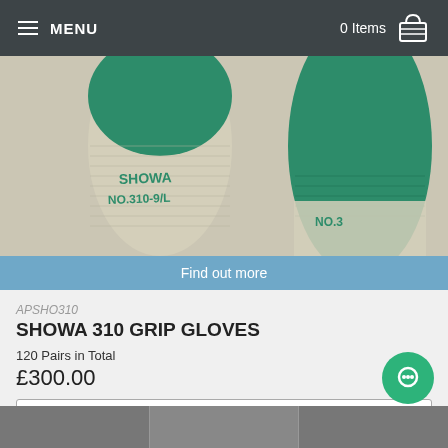MENU   0 Items
[Figure (photo): Close-up of two Showa 310 grip gloves showing the knitted wrist with green rubber coating and text 'SHOWA NO.310-9/L' printed on the wrist area]
Find out more
APSHO310
SHOWA 310 GRIP GLOVES
120 Pairs in Total
£300.00
Select an option
Quantity: – 1 +
Add to basket